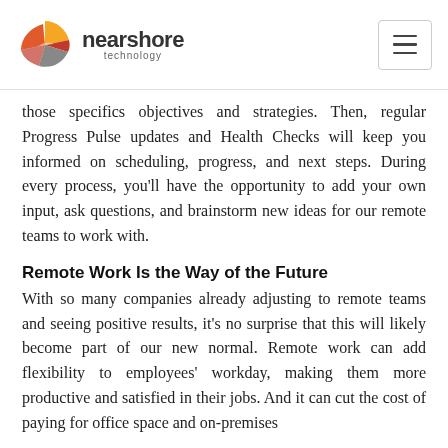nearshore technology
those specifics objectives and strategies. Then, regular Progress Pulse updates and Health Checks will keep you informed on scheduling, progress, and next steps. During every process, you'll have the opportunity to add your own input, ask questions, and brainstorm new ideas for our remote teams to work with.
Remote Work Is the Way of the Future
With so many companies already adjusting to remote teams and seeing positive results, it's no surprise that this will likely become part of our new normal. Remote work can add flexibility to employees' workday, making them more productive and satisfied in their jobs. And it can cut the cost of paying for office space and on-premises